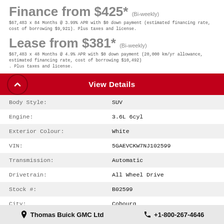Finance from $425* (Bi-weekly)
$67,483 x 84 Months @ 3.99% APR with $0 down payment (estimated financing rate, cost of borrowing $9,921). Plus taxes and license.
Lease from $381* (Bi-weekly)
$67,483 x 48 Months @ 4.9% APR with $0 down payment (20,000 km/yr allowance, estimated financing rate, cost of borrowing $10,492) . Plus taxes and license.
View Details
| Label | Value |
| --- | --- |
| Body Style: | SUV |
| Engine: | 3.6L 6cyl |
| Exterior Colour: | White |
| VIN: | 5GAEVCKW7NJ102599 |
| Transmission: | Automatic |
| Drivetrain: | All Wheel Drive |
| Stock #: | B02599 |
| City: | Cobourg |
Thomas Buick GMC Ltd   +1-800-267-4646